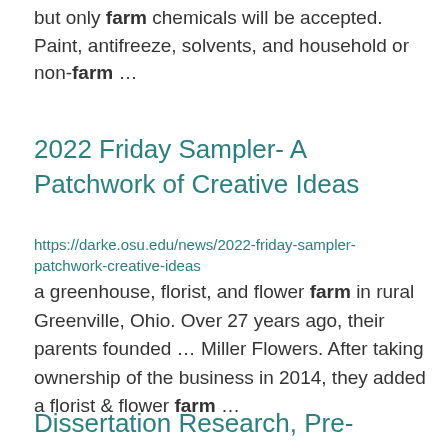but only farm chemicals will be accepted. Paint, antifreeze, solvents, and household or non-farm ...
2022 Friday Sampler- A Patchwork of Creative Ideas
https://darke.osu.edu/news/2022-friday-sampler-patchwork-creative-ideas
a greenhouse, florist, and flower farm in rural Greenville, Ohio. Over 27 years ago, their parents founded ... Miller Flowers. After taking ownership of the business in 2014, they added a florist & flower farm ...
Dissertation Research, Pre-